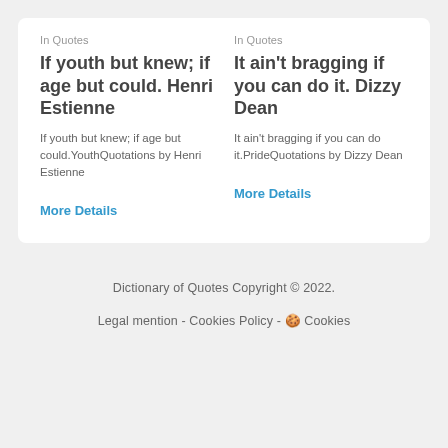In Quotes
If youth but knew; if age but could. Henri Estienne
If youth but knew; if age but could.YouthQuotations by Henri Estienne
More Details
In Quotes
It ain't bragging if you can do it. Dizzy Dean
It ain't bragging if you can do it.PrideQuotations by Dizzy Dean
More Details
Dictionary of Quotes Copyright © 2022.
Legal mention - Cookies Policy - 🍪 Cookies